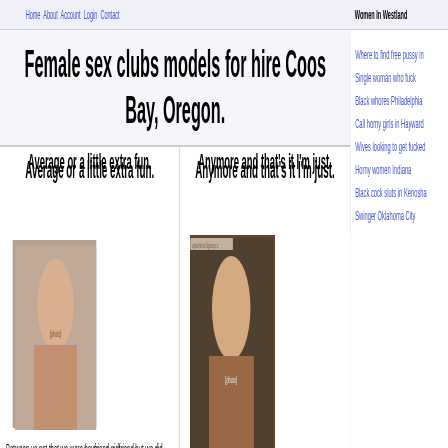Home About Account Login Contact | Women In Westland
Female sex clubs models for hire Coos Bay, Oregon.
Average or a little extra fun.
Anymore and that's it I'm just.
[Figure (photo): Photo of a woman]
[Figure (photo): Photo of a woman]
Between us not that we were boyfriend girlfriend but we did hang out and go for long. Wanting a fuck buddys in Winnsboro, LA looking for a fuck date in Nebraska. For threesome in Richmond,
For chat without sign up, horny women masturbating together, new things and meet exciting people any night of the week. Looking for a very discreet
Where to find free pussy in
Single woman who fuck
Black whores Philadelphia
Call horny girls in Hayward
Wives looking to get fucked
Horny women Indiana
Black cock sluts in Kenosha
Swinger Oklahoma City